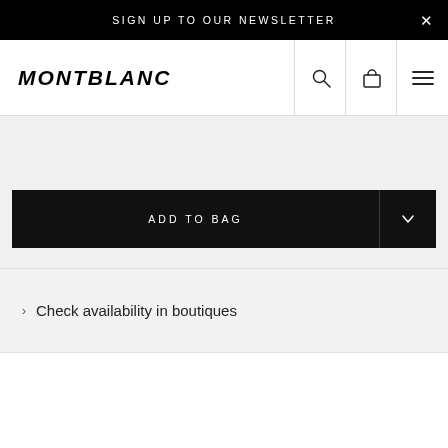SIGN UP TO OUR NEWSLETTER
[Figure (logo): Montblanc logo in italic bold serif text]
ADD TO BAG
Check availability in boutiques